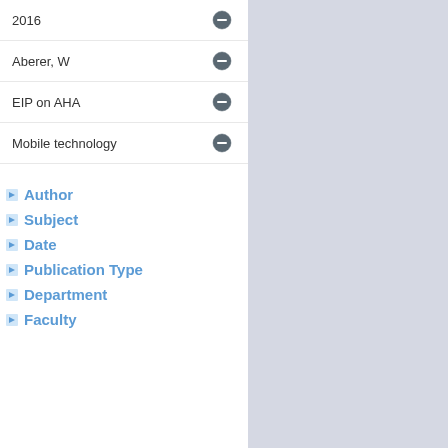2016
Aberer, W
EIP on AHA
Mobile technology
Author
Subject
Date
Publication Type
Department
Faculty